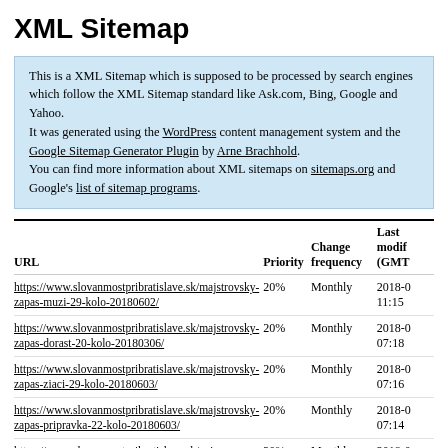XML Sitemap
This is a XML Sitemap which is supposed to be processed by search engines which follow the XML Sitemap standard like Ask.com, Bing, Google and Yahoo.
It was generated using the WordPress content management system and the Google Sitemap Generator Plugin by Arne Brachhold.
You can find more information about XML sitemaps on sitemaps.org and Google's list of sitemap programs.
| URL | Priority | Change frequency | Last modified (GMT) |
| --- | --- | --- | --- |
| https://www.slovanmostpribratislave.sk/majstrovsky-zapas-muzi-29-kolo-20180602/ | 20% | Monthly | 2018-0 11:15 |
| https://www.slovanmostpribratislave.sk/majstrovsky-zapas-dorast-20-kolo-20180306/ | 20% | Monthly | 2018-0 07:18 |
| https://www.slovanmostpribratislave.sk/majstrovsky-zapas-ziaci-29-kolo-20180603/ | 20% | Monthly | 2018-0 07:16 |
| https://www.slovanmostpribratislave.sk/majstrovsky-zapas-pripravka-22-kolo-20180603/ | 20% | Monthly | 2018-0 07:14 |
| https://www.slovanmostpribratislave.sk/vajnory-most-2-4-20180525/ | 20% | Monthly | 2018-0 18:55 |